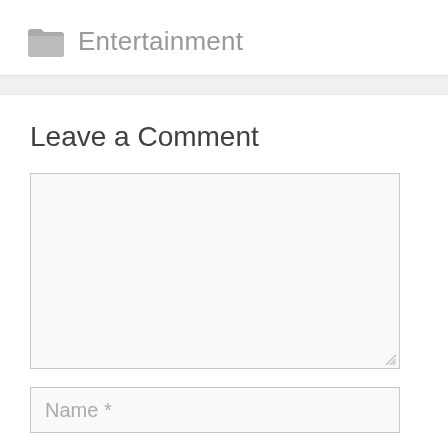Entertainment
Leave a Comment
[Figure (screenshot): Empty comment textarea input field]
Name *